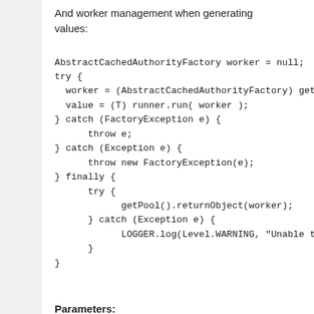And worker management when generating values:
AbstractCachedAuthorityFactory worker = null;
try {
  worker = (AbstractCachedAuthorityFactory) getPo
  value = (T) runner.run( worker );
} catch (FactoryException e) {
      throw e;
} catch (Exception e) {
      throw new FactoryException(e);
} finally {
      try {
            getPool().returnObject(worker);
      } catch (Exception e) {
            LOGGER.log(Level.WARNING, "Unable to ret
      }
}
Parameters:
key - Used to look in the cache